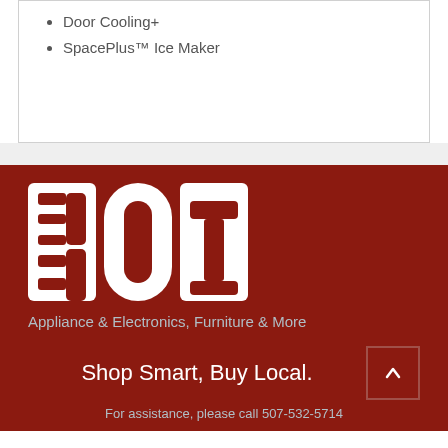Door Cooling+
SpacePlus™ Ice Maker
[Figure (logo): BOT logo in white on dark red background with tagline 'Appliance & Electronics, Furniture & More']
Shop Smart, Buy Local.
For assistance, please call 507-532-5714